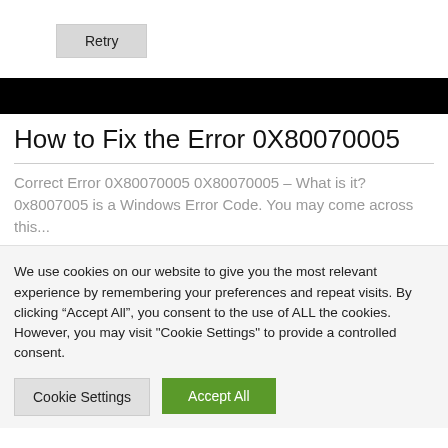Retry
[Figure (other): Black banner/header bar]
How to Fix the Error 0X80070005
Correct Error 0X80070005 0X80070005 – What is it? 0x8007005 is a Windows Error Code. You may come across this...
We use cookies on our website to give you the most relevant experience by remembering your preferences and repeat visits. By clicking “Accept All”, you consent to the use of ALL the cookies. However, you may visit "Cookie Settings" to provide a controlled consent.
Cookie Settings
Accept All